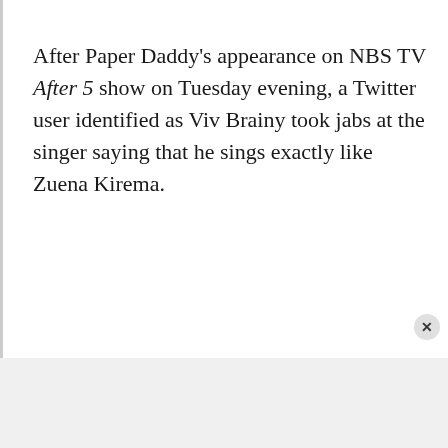After Paper Daddy's appearance on NBS TV After 5 show on Tuesday evening, a Twitter user identified as Viv Brainy took jabs at the singer saying that he sings exactly like Zuena Kirema.